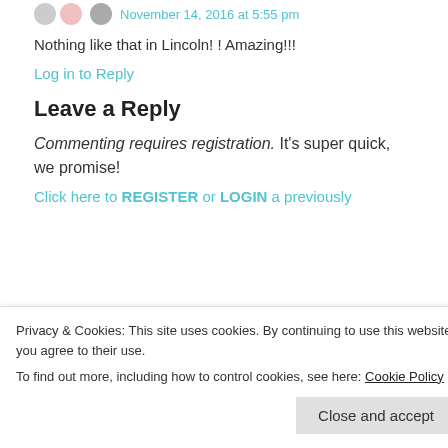November 14, 2016 at 5:55 pm
Nothing like that in Lincoln! ! Amazing!!!
Log in to Reply
Leave a Reply
Commenting requires registration. It's super quick, we promise!
Click here to REGISTER or LOGIN a previously...
Privacy & Cookies: This site uses cookies. By continuing to use this website, you agree to their use.
To find out more, including how to control cookies, see here: Cookie Policy
Close and accept